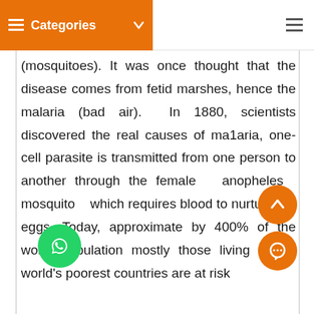Categories
(mosquitoes). It was once thought that the disease comes from fetid marshes, hence the malaria (bad air). In 1880, scientists discovered the real causes of ma1aria, one-cell parasite is transmitted from one person to another through the female anopheles mosquito which requires blood to nurture the eggs. Today, approximate by 400% of the world population mostly those living in the world's poorest countries are at risk